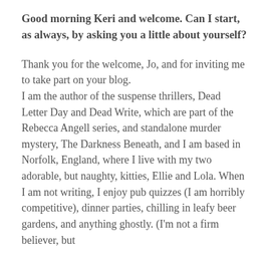Good morning Keri and welcome. Can I start, as always, by asking you a little about yourself?
Thank you for the welcome, Jo, and for inviting me to take part on your blog. I am the author of the suspense thrillers, Dead Letter Day and Dead Write, which are part of the Rebecca Angell series, and standalone murder mystery, The Darkness Beneath, and I am based in Norfolk, England, where I live with my two adorable, but naughty, kitties, Ellie and Lola. When I am not writing, I enjoy pub quizzes (I am horribly competitive), dinner parties, chilling in leafy beer gardens, and anything ghostly. (I'm not a firm believer, but